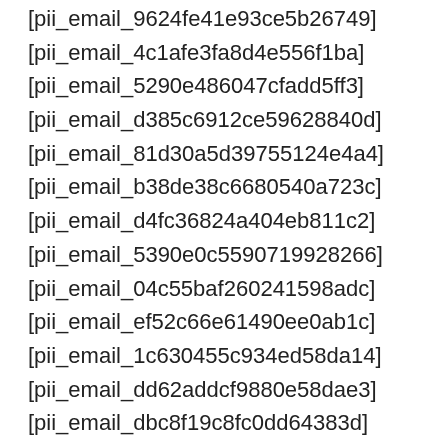[pii_email_9624fe41e93ce5b26749]
[pii_email_4c1afe3fa8d4e556f1ba]
[pii_email_5290e486047cfadd5ff3]
[pii_email_d385c6912ce59628840d]
[pii_email_81d30a5d39755124e4a4]
[pii_email_b38de38c6680540a723c]
[pii_email_d4fc36824a404eb811c2]
[pii_email_5390e0c5590719928266]
[pii_email_04c55baf260241598adc]
[pii_email_ef52c66e61490ee0ab1c]
[pii_email_1c630455c934ed58da14]
[pii_email_dd62addcf9880e58dae3]
[pii_email_dbc8f19c8fc0dd64383d]
[pii_email_aa8d19925fa43f3b84e0]
[pii_email_b858d2f8dc76fb00e3f1]
[pii_email_03e7dbbd94c2df2f48b1]
[pii_email_10fe35f4046fcf1c7e7f]